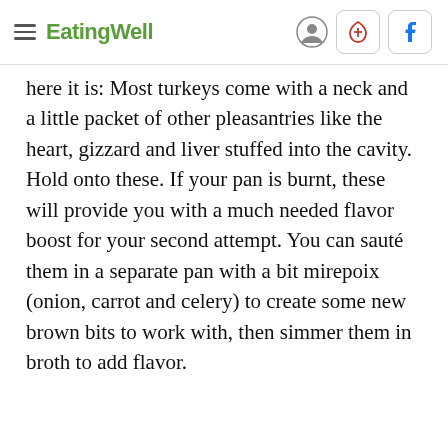EatingWell
here it is: Most turkeys come with a neck and a little packet of other pleasantries like the heart, gizzard and liver stuffed into the cavity. Hold onto these. If your pan is burnt, these will provide you with a much needed flavor boost for your second attempt. You can sauté them in a separate pan with a bit mirepoix (onion, carrot and celery) to create some new brown bits to work with, then simmer them in broth to add flavor.